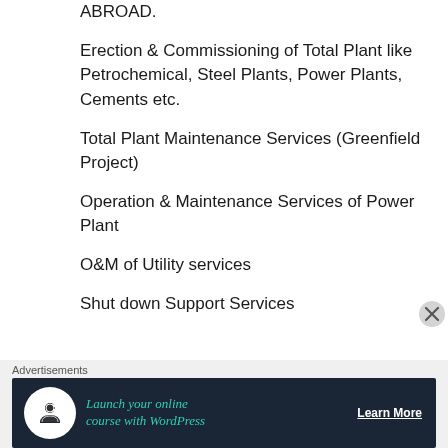ABROAD.
Erection & Commissioning of Total Plant like Petrochemical, Steel Plants, Power Plants, Cements etc.
Total Plant Maintenance Services (Greenfield Project)
Operation & Maintenance Services of Power Plant
O&M of Utility services
Shut down Support Services
[Figure (screenshot): Advertisement banner: 'Launch your online course with WordPress' with Learn More button on dark background]
Advertisements